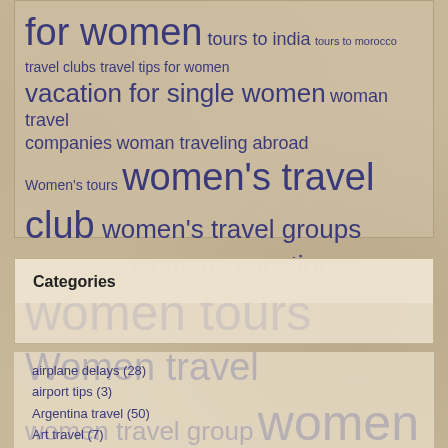[Figure (infographic): Tag cloud with travel-related phrases in varying sizes, dark blue text on beige textured background. Phrases include: for women, tours to india, tours to morocco, travel clubs, travel tips for women, vacation for single women, woman travel companies, woman traveling abroad, Women's tours, women's travel club, women's travel groups, womens travel group, womens vacations, women tours, Women travel, women travel group, women traveling, women traveling alone, women travelling together]
Categories
airplane delays (28)
airport tips (3)
Argentina travel (50)
Art travel (7)